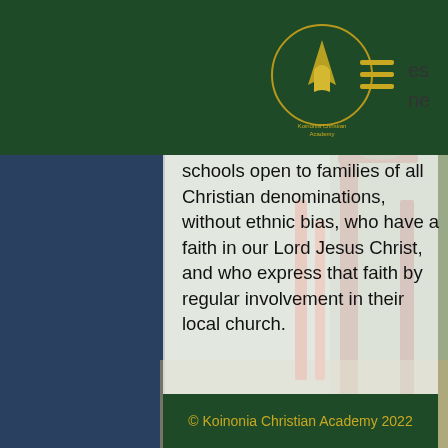[Figure (photo): School website screenshot showing Koinonia Christian Academy logo/navigation header in dark green, hamburger menu icon in gold, background photo of school playground/outdoor area with red metal structures and trees, and a semi-transparent white overlay panel with text content.]
schools open to families of all Christian denominations, without ethnic bias, who have a faith in our Lord Jesus Christ, and who express that faith by regular involvement in their local church.
The Academy operates on a four-term year and general school hours are 8:00am to 1:30pm.  There is a local bus run that provides a transport service to and from the school for eligible children.
© Koinonia Christian Academy 2022